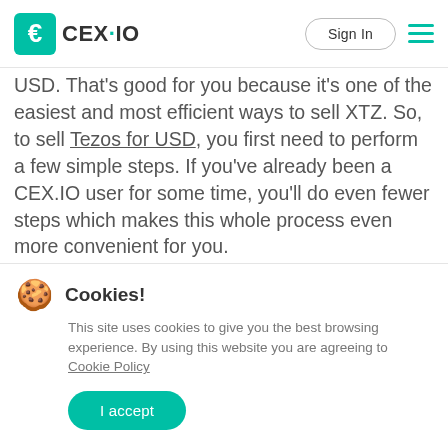CEX.IO — Sign In
USD. That's good for you because it's one of the easiest and most efficient ways to sell XTZ. So, to sell Tezos for USD, you first need to perform a few simple steps. If you've already been a CEX.IO user for some time, you'll do even fewer steps which makes this whole process even more convenient for you.
Cookies!
This site uses cookies to give you the best browsing experience. By using this website you are agreeing to Cookie Policy
I accept